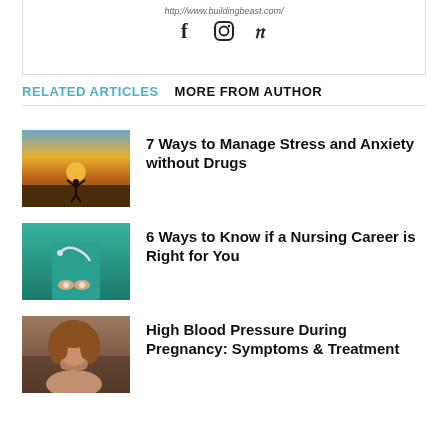http://www.buildingbeast.com/
[Figure (other): Social media icons: Facebook, Instagram, Pinterest]
RELATED ARTICLES   MORE FROM AUTHOR
7 Ways to Manage Stress and Anxiety without Drugs
6 Ways to Know if a Nursing Career is Right for You
High Blood Pressure During Pregnancy: Symptoms & Treatment